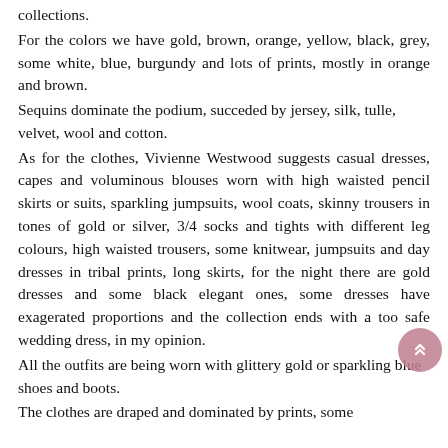collections.
For the colors we have gold, brown, orange, yellow, black, grey, some white, blue, burgundy and lots of prints, mostly in orange and brown.
Sequins dominate the podium, succeded by jersey, silk, tulle, velvet, wool and cotton.
As for the clothes, Vivienne Westwood suggests casual dresses, capes and voluminous blouses worn with high waisted pencil skirts or suits, sparkling jumpsuits, wool coats, skinny trousers in tones of gold or silver, 3/4 socks and tights with different leg colours, high waisted trousers, some knitwear, jumpsuits and day dresses in tribal prints, long skirts, for the night there are gold dresses and some black elegant ones, some dresses have exagerated proportions and the collection ends with a too safe wedding dress, in my opinion.
All the outfits are being worn with glittery gold or sparkling blue shoes and boots.
The clothes are draped and dominated by prints, some